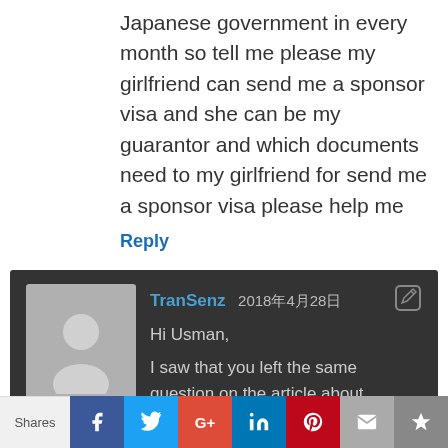Japanese government in every month so tell me please my girlfriend can send me a sponsor visa and she can be my guarantor and which documents need to my girlfriend for send me a sponsor visa please help me
Reply
TranSenz 2018年4月28日
Hi Usman,
I saw that you left the same question on the article about applying for a Spouse Certificate of Eligibility and I answered it there.
Good Luck!
Shares | f | t | G+ | in | P | mail | bookmark